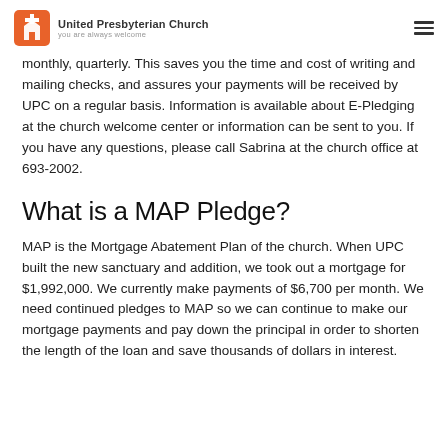United Presbyterian Church — you are always welcome
monthly, quarterly. This saves you the time and cost of writing and mailing checks, and assures your payments will be received by UPC on a regular basis. Information is available about E-Pledging at the church welcome center or information can be sent to you. If you have any questions, please call Sabrina at the church office at 693-2002.
What is a MAP Pledge?
MAP is the Mortgage Abatement Plan of the church. When UPC built the new sanctuary and addition, we took out a mortgage for $1,992,000. We currently make payments of $6,700 per month. We need continued pledges to MAP so we can continue to make our mortgage payments and pay down the principal in order to shorten the length of the loan and save thousands of dollars in interest.